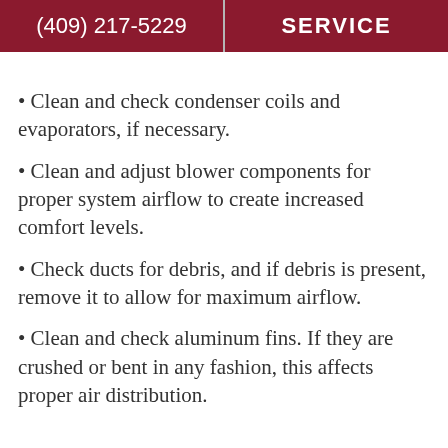(409) 217-5229   SERVICE
Clean and check condenser coils and evaporators, if necessary.
Clean and adjust blower components for proper system airflow to create increased comfort levels.
Check ducts for debris, and if debris is present, remove it to allow for maximum airflow.
Clean and check aluminum fins. If they are crushed or bent in any fashion, this affects proper air distribution.